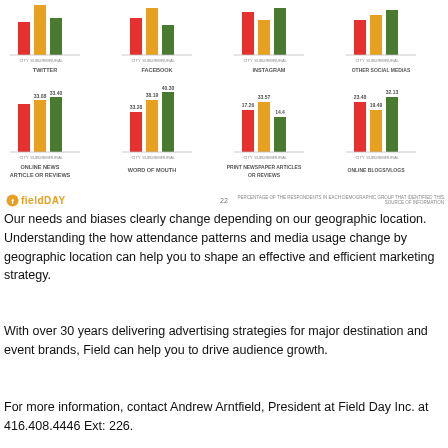[Figure (grouped-bar-chart): TWITTER]
[Figure (grouped-bar-chart): FACEBOOK]
[Figure (grouped-bar-chart): INSTAGRAM]
[Figure (grouped-bar-chart): OTHER SOCIAL MEDIAS]
[Figure (grouped-bar-chart): ONLINE NEWS ARTICLE OR REVIEWS]
[Figure (grouped-bar-chart): WORD OF MOUTH]
[Figure (grouped-bar-chart): PRINT NEWSPAPER ARTICLES OR REVIEWS]
[Figure (grouped-bar-chart): ONLINE BLOGS/VLOGS]
22  PERCENTAGE OF THE RESPONDENTS IN EACH DEMOGRAPHIC GROUP THAT IDENTIFIED THIS SOURCE OF INFORMATION
Our needs and biases clearly change depending on our geographic location. Understanding the how attendance patterns and media usage change by geographic location can help you to shape an effective and efficient marketing strategy.
With over 30 years delivering advertising strategies for major destination and event brands, Field can help you to drive audience growth.
For more information, contact Andrew Arntfield, President at Field Day Inc. at 416.408.4446 Ext: 226.